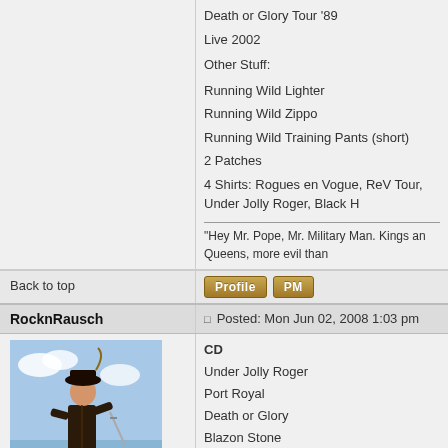Death or Glory Tour '89
Live 2002
Other Stuff:
Running Wild Lighter
Running Wild Zippo
Running Wild Training Pants (short)
2 Patches
4 Shirts: Rogues en Vogue, ReV Tour, Under Jolly Roger, Black H
"Hey Mr. Pope, Mr. Military Man. Kings an Queens, more evil than
Back to top
Profile   PM
RocknRausch
Posted: Mon Jun 02, 2008 1:03 pm
[Figure (illustration): Avatar image of a pirate figure standing on a beach]
Prisoner Of Our Time
Joined: 25 May 2008
Posts: 4302
Location: Munich / Germany
CD
Under Jolly Roger
Port Royal
Death or Glory
Blazon Stone
Pile of Skulls
Black Hand Inn
Masquerade
The Rivalry
Victory
The Brotherhood
Rogues en Vogue
DVD
Live (2002)